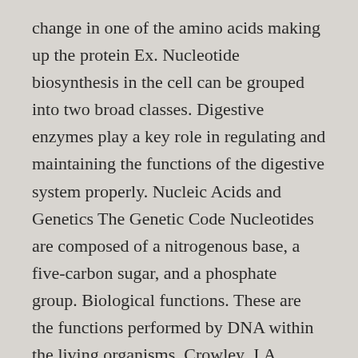change in one of the amino acids making up the protein Ex. Nucleotide biosynthesis in the cell can be grouped into two broad classes. Digestive enzymes play a key role in regulating and maintaining the functions of the digestive system properly. Nucleic Acids and Genetics The Genetic Code Nucleotides are composed of a nitrogenous base, a five-carbon sugar, and a phosphate group. Biological functions. These are the functions performed by DNA within the living organisms. Crowley, J.A. Nucleotides have a number of roles. Chapter 8 Nucleotides and Nucleic Acids Some basics Nucleic acid structure Nucleic acid chemistry Other functions of nucleotides 8.1 Some Basics Gene Annotation from AfterPowerPoint PPT